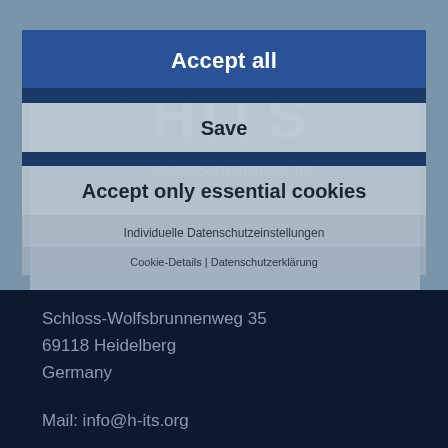[Figure (screenshot): HITS website with cookie consent overlay. Background shows HITS (Heidelberg Institute for Theoretical Studies) logo and contact info. Overlay has buttons: Accept all, Save, Accept only essential cookies, Individuelle Datenschutzeinstellungen, Cookie-Details | Datenschutzerklärung.]
HITS gGmbH
Heidelberg Institute for Theoretical Studies
Schloss-Wolfsbrunnenweg 35
69118 Heidelberg
Germany
Mail: info@h-its.org